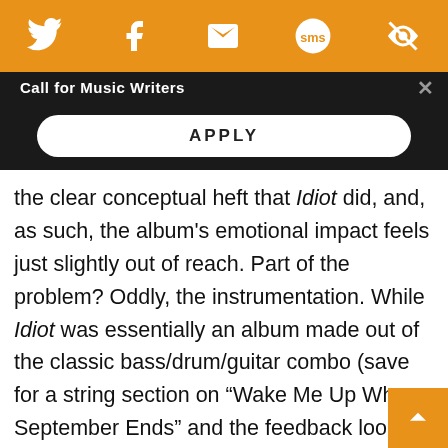[Figure (other): Orange social media share bar with Twitter, Facebook, email, SMS, and save icons]
Call for Music Writers
APPLY
the clear conceptual heft that Idiot did, and, as such, the album's emotional impact feels just slightly out of reach. Part of the problem? Oddly, the instrumentation. While Idiot was essentially an album made out of the classic bass/drum/guitar combo (save for a string section on “Wake Me Up When September Ends” and the feedback loops that grounded “Boulevard of Broken Dreams”), 21st Century Breakdown runs throu gamut of noisemakers, with synths and E-bow’s